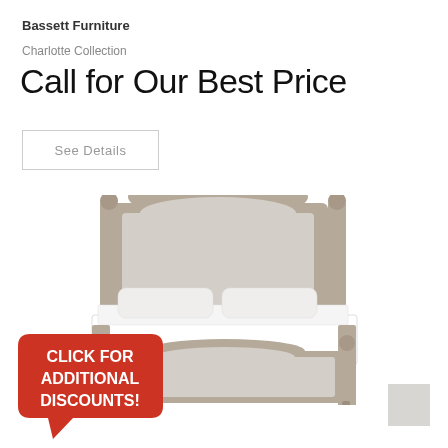Bassett Furniture
Charlotte Collection
Call for Our Best Price
See Details
[Figure (photo): Bassett Furniture Charlotte Collection bed with taupe/grey upholstered headboard and footboard, decorative finials, white bedding, shown in 3/4 view on white background]
[Figure (infographic): Red speech bubble badge with white bold text reading CLICK FOR ADDITIONAL DISCOUNTS!]
[Figure (other): Small grey color swatch square in bottom right corner]